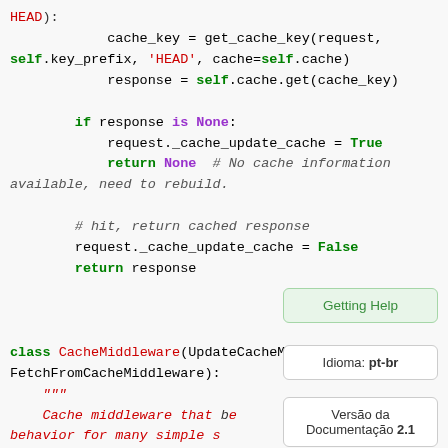[Figure (screenshot): Python source code snippet showing cache middleware logic with syntax highlighting. Code includes cache_key assignment, self.key_prefix with 'HEAD' string, response assignment, if/None check, _cache_update_cache True/False, return statements and comments, followed by class CacheMiddleware definition with docstring.]
Getting Help
Idioma: pt-br
Versão da Documentação 2.1